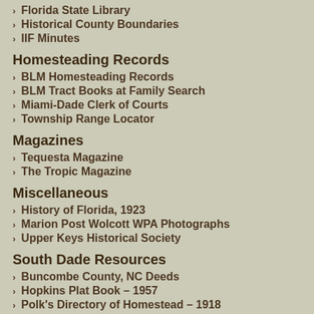Florida State Library
Historical County Boundaries
IIF Minutes
Homesteading Records
BLM Homesteading Records
BLM Tract Books at Family Search
Miami-Dade Clerk of Courts
Township Range Locator
Magazines
Tequesta Magazine
The Tropic Magazine
Miscellaneous
History of Florida, 1923
Marion Post Wolcott WPA Photographs
Upper Keys Historical Society
South Dade Resources
Buncombe County, NC Deeds
Hopkins Plat Book – 1957
Polk's Directory of Homestead – 1918
Sanborn Fire Map of Homestead – 1920